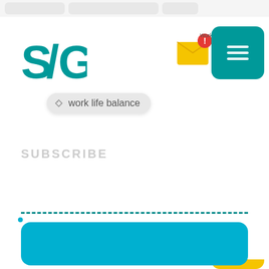[Figure (logo): S/G logo with teal lightning bolt lettering]
[Figure (screenshot): Email notification icon with red alert badge and 'Work' label]
[Figure (other): Teal hamburger menu button with yellow accent bar]
work life balance
SUBSCRIBE
[Figure (other): Teal dashed horizontal divider line]
[Figure (other): Teal/cyan rounded rectangle card at bottom]